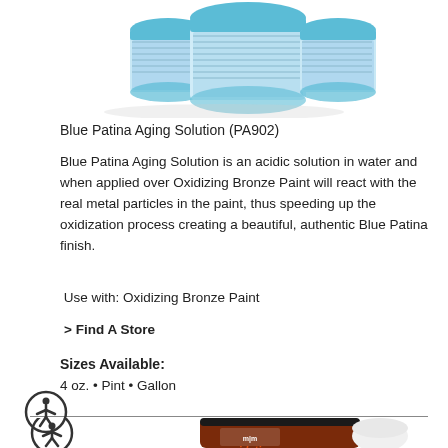[Figure (photo): Blue paint cans/containers with blue lids, product photo of Blue Patina Aging Solution on white background]
Blue Patina Aging Solution (PA902)
Blue Patina Aging Solution is an acidic solution in water and when applied over Oxidizing Bronze Paint will react with the real metal particles in the paint, thus speeding up the oxidization process creating a beautiful, authentic Blue Patina finish.
Use with: Oxidizing Bronze Paint
> Find A Store
Sizes Available:
4 oz. • Pint • Gallon
[Figure (photo): Modern Masters Oxidizing Bronze Paint gallon can with black lid and white cup, product photo on white background. Below the main product image is an accessibility icon (person in circle).]